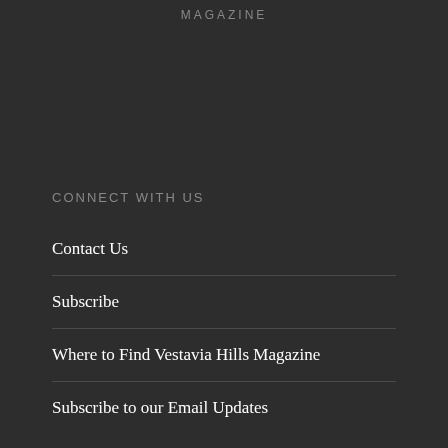MAGAZINE
CONNECT WITH US
Contact Us
Subscribe
Where to Find Vestavia Hills Magazine
Subscribe to our Email Updates